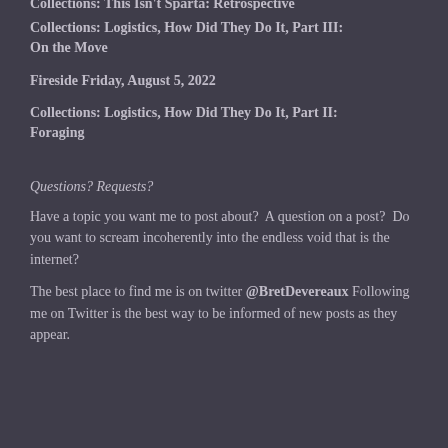Collections: This Isn't Sparta: Retrospective
Collections: Logistics, How Did They Do It, Part III: On the Move
Fireside Friday, August 5, 2022
Collections: Logistics, How Did They Do It, Part II: Foraging
Questions? Requests?
Have a topic you want me to post about?  A question on a post?  Do you want to scream incoherently into the endless void that is the internet?
The best place to find me is on twitter @BretDevereaux Following me on Twitter is the best way to be informed of new posts as they appear.